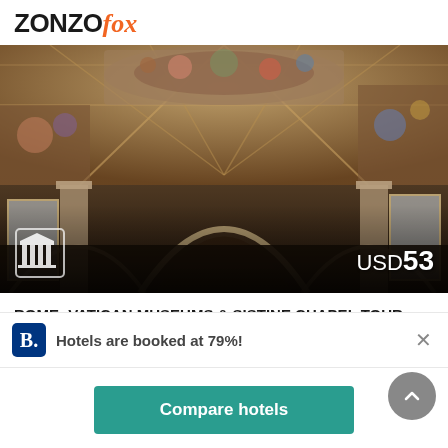[Figure (logo): ZonzoFox logo — ZONZO in black bold, fox in orange italic]
[Figure (photo): Interior of Vatican Museums showing ornately painted barrel-vault ceiling with Renaissance frescoes, arched corridors, and decorative architectural elements. Price overlay: USD 53. Building/museum icon bottom left.]
ROME: VATICAN MUSEUMS & SISTINE CHAPEL TOUR
Hotels are booked at 79%!
Compare hotels